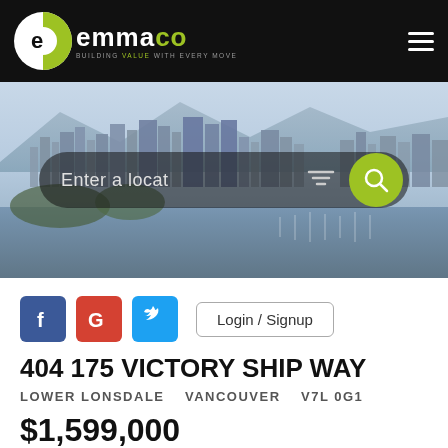[Figure (logo): emmaco real estate logo with tagline BUILDING VALUE WITH EVERY MOVE on black header bar]
[Figure (photo): Aerial cityscape of Vancouver with waterfront, marina, sailboats, and mountains in background with a search bar overlay]
[Figure (screenshot): Social login buttons: Facebook (blue), Google (red), Twitter (blue), and Login/Signup button]
404 175 VICTORY SHIP WAY
LOWER LONSDALE   VANCOUVER   V7L 0G1
$1,599,000